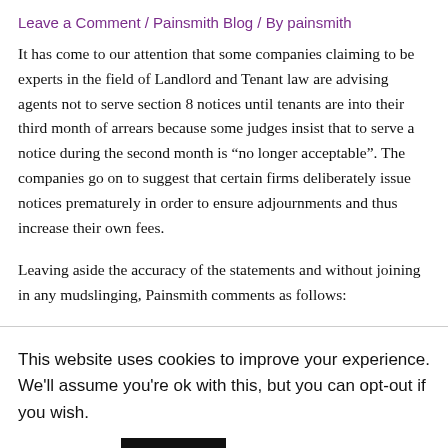Leave a Comment / Painsmith Blog / By painsmith
It has come to our attention that some companies claiming to be experts in the field of Landlord and Tenant law are advising agents not to serve section 8 notices until tenants are into their third month of arrears because some judges insist that to serve a notice during the second month is “no longer acceptable”. The companies go on to suggest that certain firms deliberately issue notices prematurely in order to ensure adjournments and thus increase their own fees.
Leaving aside the accuracy of the statements and without joining in any mudslinging, Painsmith comments as follows:
This website uses cookies to improve your experience. We'll assume you're ok with this, but you can opt-out if you wish.
Accept
Read More